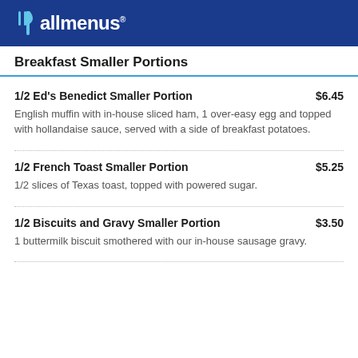allmenus
Breakfast Smaller Portions
1/2 Ed's Benedict Smaller Portion — $6.45
English muffin with in-house sliced ham, 1 over-easy egg and topped with hollandaise sauce, served with a side of breakfast potatoes.
1/2 French Toast Smaller Portion — $5.25
1/2 slices of Texas toast, topped with powered sugar.
1/2 Biscuits and Gravy Smaller Portion — $3.50
1 buttermilk biscuit smothered with our in-house sausage gravy.